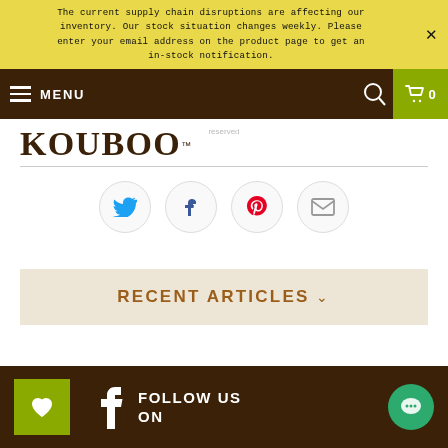The current supply chain disruptions are affecting our inventory. Our stock situation changes weekly. Please enter your email address on the product page to get an in-stock notification.
[Figure (screenshot): Navigation bar with hamburger menu icon, MENU text, search icon, and cart button showing 0 items]
[Figure (logo): KOUBOO trademark logo in dark brown]
[Figure (infographic): Social share icons: Twitter, Facebook, Pinterest, Email in circular borders]
RECENT ARTICLES
FOLLOW US ON